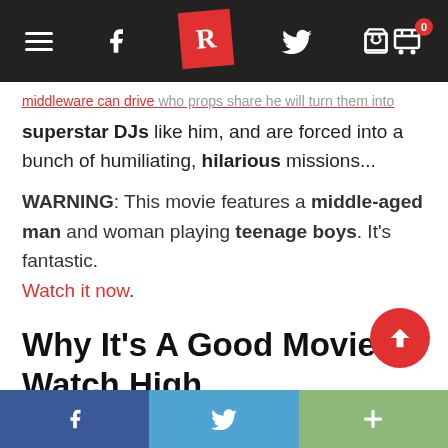Navigation bar with hamburger menu, Facebook icon, R logo, Twitter icon, cart icon (0)
superstar DJs like him, and are forced into a bunch of humiliating, hilarious missions...
WARNING: This movie features a middle-aged man and woman playing teenage boys. It's fantastic. Watch it now.
Why It’s A Good Movie To Watch High
Kevin, one of Harry Enfield’s popular TV show characters, is the walking stereotype of a stupid
Share bar: Facebook, Twitter, More (+)